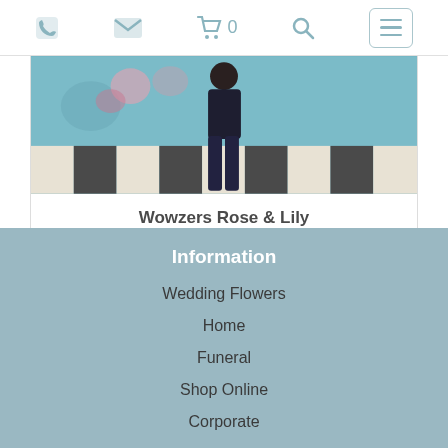Navigation bar with phone, email, cart (0), search, and menu icons
[Figure (photo): Product photo showing a person standing on a black and white striped floor with a floral background, representing Wowzers Rose & Lily arrangement]
Wowzers Rose & Lily
£200.00
Information
Wedding Flowers
Home
Funeral
Shop Online
Corporate